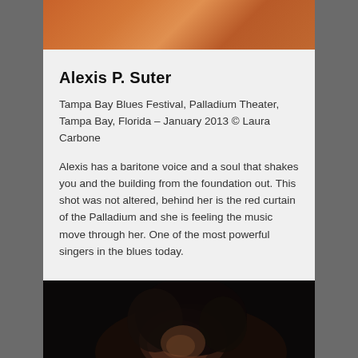[Figure (photo): Top portion of a photo showing a performer in warm red/orange lighting at the Palladium Theater]
Alexis P. Suter
Tampa Bay Blues Festival, Palladium Theater, Tampa Bay, Florida – January 2013 © Laura Carbone
Alexis has a baritone voice and a soul that shakes you and the building from the foundation out. This shot was not altered, behind her is the red curtain of the Palladium and she is feeling the music move through her. One of the most powerful singers in the blues today.
[Figure (photo): A performer with curly hair photographed from below against a dark background, eyes closed, performing]